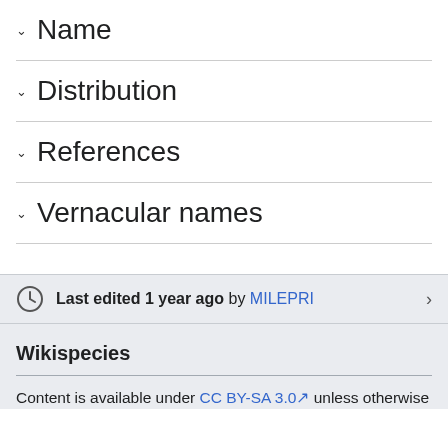Name
Distribution
References
Vernacular names
Last edited 1 year ago by MILEPRI
Wikispecies
Content is available under CC BY-SA 3.0 unless otherwise